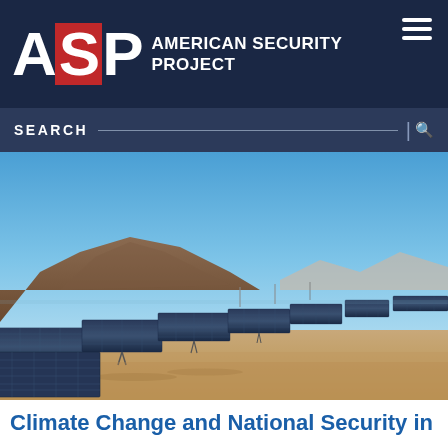AMERICAN SECURITY PROJECT
[Figure (screenshot): Search bar with SEARCH label and search icon on dark navy background]
[Figure (photo): Outdoor solar panel farm with rows of photovoltaic panels in desert setting, mountains in background under clear blue sky]
Climate Change and National Security in